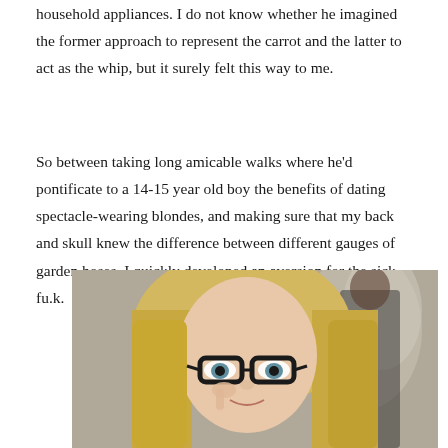household appliances. I do not know whether he imagined the former approach to represent the carrot and the latter to act as the whip, but it surely felt this way to me.
So between taking long amicable walks where he'd pontificate to a 14-15 year old boy the benefits of dating spectacle-wearing blondes, and making sure that my back and skull knew the difference between different gauges of garden hoses, I quickly developed an aversion for the sick fu.k.
[Figure (photo): Close-up photo of a blonde woman wearing black-rimmed glasses, looking at the camera. A man in a suit is visible blurred in the background.]